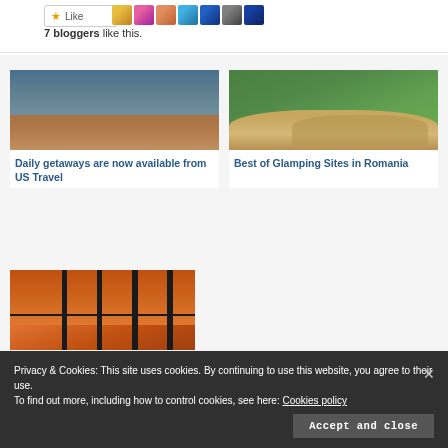7 bloggers like this.
[Figure (photo): Hikers walking along a mountain trail with red-brown rocky terrain and tree-covered hills in background]
Daily getaways are now available from US Travel
[Figure (photo): Glamping tent with canvas walls set among large green trees in a garden setting]
Best of Glamping Sites in Romania
[Figure (photo): View through large dark-framed windows of an ocean and cliff landscape at sunset]
Privacy & Cookies: This site uses cookies. By continuing to use this website, you agree to their use.
To find out more, including how to control cookies, see here: Cookies policy